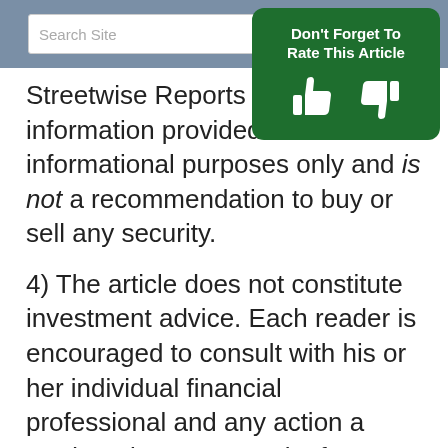Search Site | Don't Forget To Rate This Article
Streetwise Reports or its officers, information provided above is for informational purposes only and is not a recommendation to buy or sell any security.
4) The article does not constitute investment advice. Each reader is encouraged to consult with his or her individual financial professional and any action a reader takes as a result of information presented here is his or her own responsibility. By opening this page, each reader accepts and agrees to Streetwise Reports' terms of use and full legal disclaimer. This article is not a solicitation for investment. Streetwise Reports